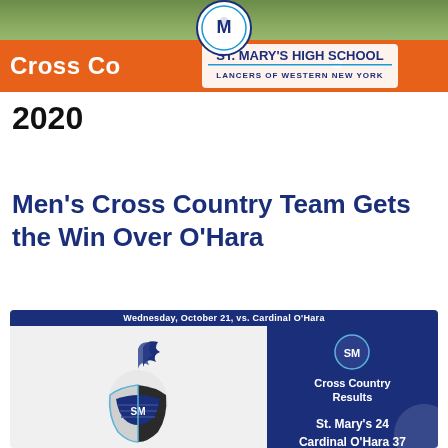Cross Country — St. Mary's High School Lancers of Western New York
2020
Men's Cross Country Team Gets the Win Over O'Hara
[Figure (infographic): Match result card: Wednesday, October 21, vs. Cardinal O'Hara. Left panel shows St. Mary's knight helmet logo. Right panel (dark blue) shows Cross Country Results: St. Mary's 24, Cardinal O'Hara 37.]